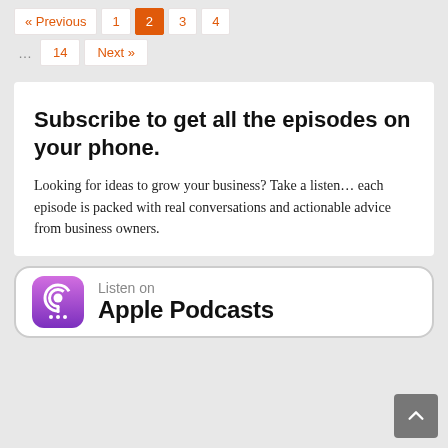« Previous  1  2  3  4  ...  14  Next »
Subscribe to get all the episodes on your phone.
Looking for ideas to grow your business? Take a listen... each episode is packed with real conversations and actionable advice from business owners.
[Figure (logo): Listen on Apple Podcasts badge with purple podcast icon]